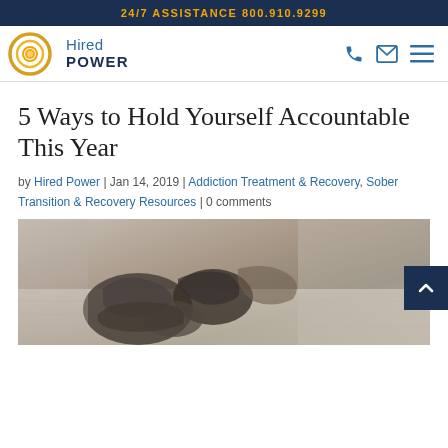24/7 ASSISTANCE 800.910.9299
[Figure (logo): Hired Power logo with orange circular sun graphic and blue text]
5 Ways to Hold Yourself Accountable This Year
by Hired Power | Jan 14, 2019 | Addiction Treatment & Recovery, Sober Transition & Recovery Resources | 0 comments
[Figure (photo): Sepia-toned black and white photo of hands clasped together, possibly in a group therapy or support setting, with a wooden floor background]